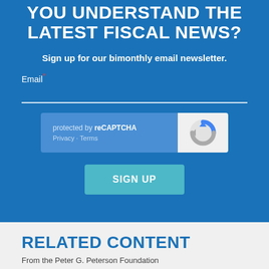YOU UNDERSTAND THE LATEST FISCAL NEWS?
Sign up for our bimonthly email newsletter.
Email*
[Figure (screenshot): reCAPTCHA widget showing 'protected by reCAPTCHA' with Privacy and Terms links, and the Google reCAPTCHA logo on the right]
SIGN UP
RELATED CONTENT
From the Peter G. Peterson Foundation